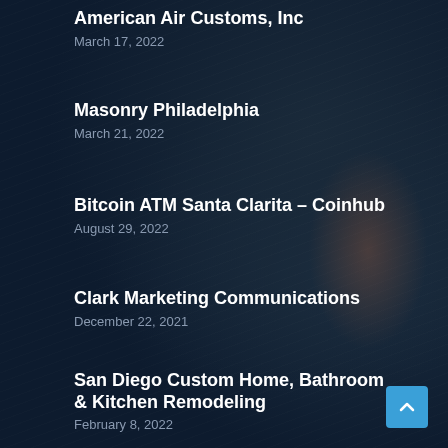American Air Customs, Inc
March 17, 2022
Masonry Philadelphia
March 21, 2022
Bitcoin ATM Santa Clarita – Coinhub
August 29, 2022
Clark Marketing Communications
December 22, 2021
San Diego Custom Home, Bathroom & Kitchen Remodeling
February 8, 2022